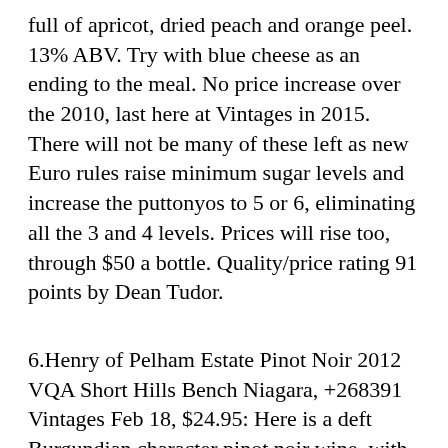full of apricot, dried peach and orange peel. 13% ABV. Try with blue cheese as an ending to the meal. No price increase over the 2010, last here at Vintages in 2015. There will not be many of these left as new Euro rules raise minimum sugar levels and increase the puttonyos to 5 or 6, eliminating all the 3 and 4 levels. Prices will rise too, through $50 a bottle. Quality/price rating 91 points by Dean Tudor.
6.Henry of Pelham Estate Pinot Noir 2012 VQA Short Hills Bench Niagara, +268391 Vintages Feb 18, $24.95: Here is a deft Burgundian character pinot noir wine, with cherry-berry tones, some toast, mildly opulent style, not totally cool climate at all. Fermented in stainless and aged in "European" oak (30% new). Ready now, very food friendly. Quality/Price rating is 89 points by Dean Tudor of Gothic Epicures.